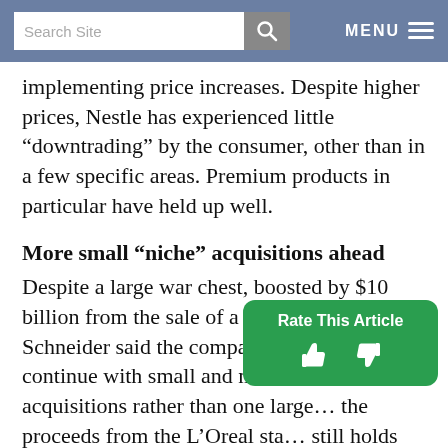Search Site | MENU
implementing price increases. Despite higher prices, Nestle has experienced little “downtrading” by the consumer, other than in a few specific areas. Premium products in particular have held up well.
More small “niche” acquisitions ahead
Despite a large war chest, boosted by $10 billion from the sale of a stake in L’Oreal, Schneider said the company would likely continue with small and medium-sized acquisitions rather than one large… the proceeds from the L’Oreal sta… still holds about 20% of the French cosmetics maker — will go towards a new Chf 20 billion
[Figure (infographic): Rate This Article overlay with thumbs up and thumbs down icons on a green rounded rectangle background]